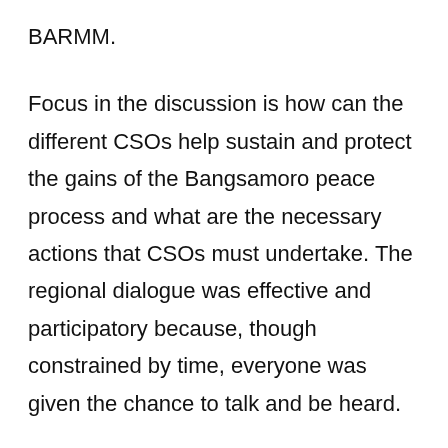BARMM.
Focus in the discussion is how can the different CSOs help sustain and protect the gains of the Bangsamoro peace process and what are the necessary actions that CSOs must undertake. The regional dialogue was effective and participatory because, though constrained by time, everyone was given the chance to talk and be heard.
Minister Mohagher Iqbal of the Ministry of Basic, Higher, and Technical Education (MBHTE)–BARMM was also present during the